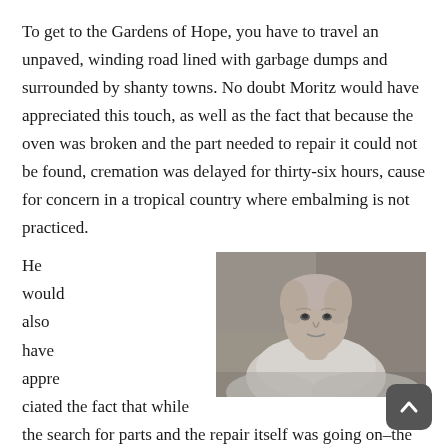To get to the Gardens of Hope, you have to travel an unpaved, winding road lined with garbage dumps and surrounded by shanty towns. No doubt Moritz would have appreciated this touch, as well as the fact that because the oven was broken and the part needed to repair it could not be found, cremation was delayed for thirty-six hours, cause for concern in a tropical country where embalming is not practiced.
[Figure (photo): Black and white photograph of an older man with light hair wearing a white t-shirt, looking at the camera, with a blurred background.]
He would also have appre ciated the fact that while the search for parts and the repair itself was going on–the search was in vain; someone finally improvised something–he was charged an hourly rental